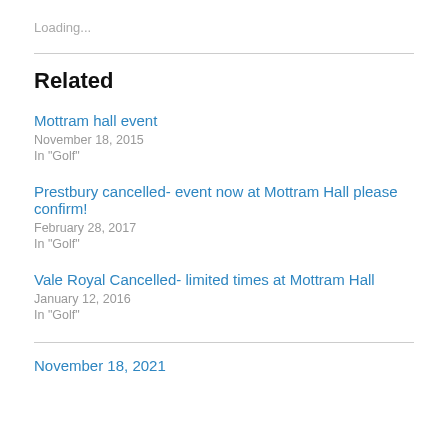Loading...
Related
Mottram hall event
November 18, 2015
In "Golf"
Prestbury cancelled- event now at Mottram Hall please confirm!
February 28, 2017
In "Golf"
Vale Royal Cancelled- limited times at Mottram Hall
January 12, 2016
In "Golf"
November 18, 2021